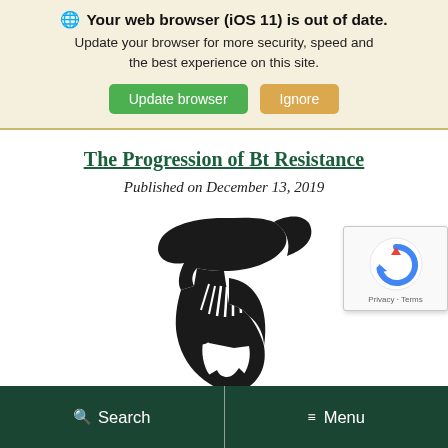Your web browser (iOS 11) is out of date. Update your browser for more security, speed and the best experience on this site. Update browser | Ignore
The Progression of Bt Resistance
Published on December 13, 2019
[Figure (logo): Michigan State University Spartan helmet logo in black]
[Figure (screenshot): reCAPTCHA widget showing recycling/refresh icon with Privacy and Terms links]
Search  |  Menu